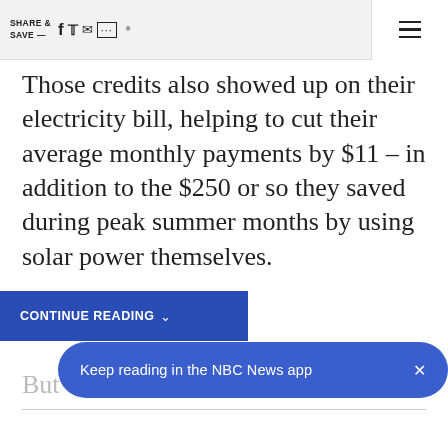SHARE & SAVE
Those credits also showed up on their electricity bill, helping to cut their average monthly payments by $11 – in addition to the $250 or so they saved during peak summer months by using solar power themselves.
But eventually the
CONTINUE READING
Keep reading in the NBC News app